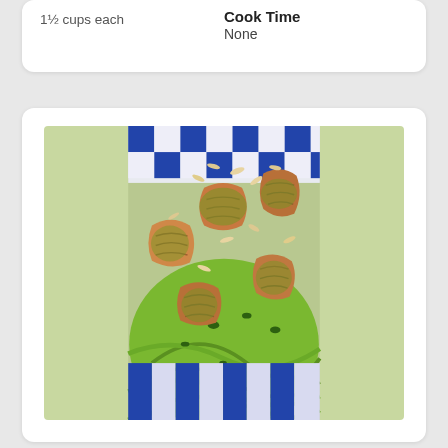1½ cups each
Cook Time
None
[Figure (photo): A bowl with blue and white striped pattern, filled with pesto shrimp served over zucchini noodles, topped with sliced almonds and herbs.]